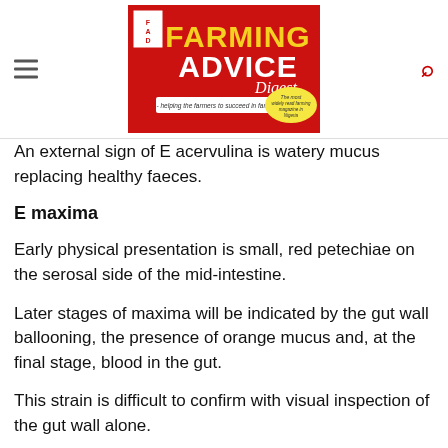[Figure (logo): FAD Farming Advice Digest magazine logo — red background with gold and white text reading FARMING ADVICE Digest, tagline 'helping the farmers to succeed in farming!', yellow oval badge 'The most widely read farming magazine in Nigeria']
An external sign of E acervulina is watery mucus replacing healthy faeces.
E maxima
Early physical presentation is small, red petechiae on the serosal side of the mid-intestine.
Later stages of maxima will be indicated by the gut wall ballooning, the presence of orange mucus and, at the final stage, blood in the gut.
This strain is difficult to confirm with visual inspection of the gut wall alone.